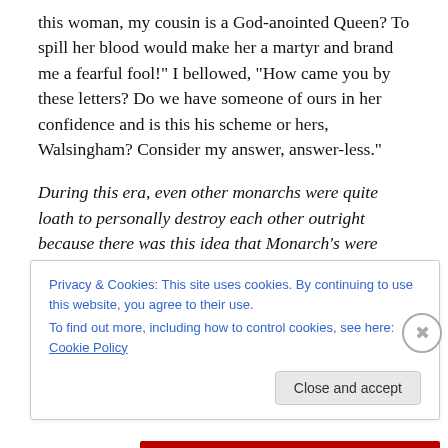this woman, my cousin is a God-anointed Queen? To spill her blood would make her a martyr and brand me a fearful fool!" I bellowed, "How came you by these letters? Do we have someone of ours in her confidence and is this his scheme or hers, Walsingham? Consider my answer, answer-less."
During this era, even other monarchs were quite loath to personally destroy each other outright because there was this idea that Monarch's were appointed and anointed by God, so only God could destroy them. Regicide did
Privacy & Cookies: This site uses cookies. By continuing to use this website, you agree to their use.
To find out more, including how to control cookies, see here: Cookie Policy